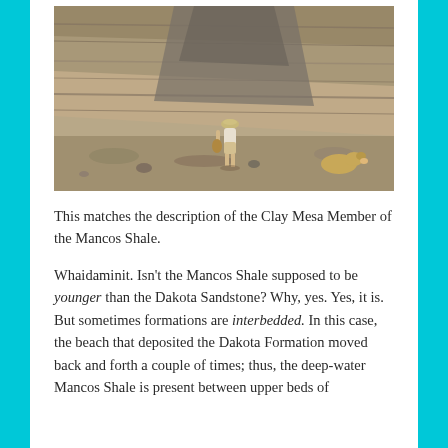[Figure (photo): A person standing at the base of a rocky cliff or outcrop, viewed from behind. The cliff shows layered sedimentary rock formations. The person is wearing a hat and light clothing, standing on dry ground with sparse vegetation. A dog is visible to the right. The rock layers appear to be shale or similar sedimentary formation.]
This matches the description of the Clay Mesa Member of the Mancos Shale.
Whaidaminit. Isn't the Mancos Shale supposed to be younger than the Dakota Sandstone? Why, yes. Yes, it is. But sometimes formations are interbedded. In this case, the beach that deposited the Dakota Formation moved back and forth a couple of times; thus, the deep-water Mancos Shale is present between upper beds of